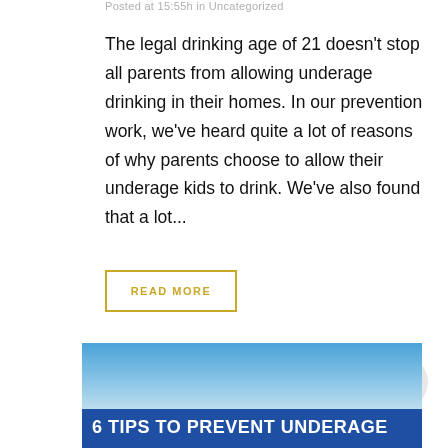Posted at 15:55h in Uncategorized
The legal drinking age of 21 doesn't stop all parents from allowing underage drinking in their homes. In our prevention work, we've heard quite a lot of reasons of why parents choose to allow their underage kids to drink. We've also found that a lot...
READ MORE
[Figure (illustration): Scroll-to-top button: circular grey button with an upward-pointing arrow icon]
[Figure (infographic): Blue gradient banner image with bold white text reading '6 TIPS TO PREVENT UNDERAGE']